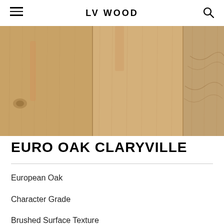LV WOOD
[Figure (photo): Close-up photo of Euro Oak Claryville wood flooring planks showing natural grain texture in warm beige and tan tones with visible wood grain lines and knots]
EURO OAK CLARYVILLE
European Oak
Character Grade
Brushed Surface Texture